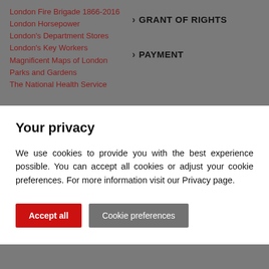London Fire Brigade 1866-2016
London Horsepower
London's Department Stores
London's Key Workers
Magnificent Maps of London
Parks and Gardens
The National Health Service
GRANT OF RIGHTS
PAYMENT
Your privacy
We use cookies to provide you with the best experience possible. You can accept all cookies or adjust your cookie preferences. For more information visit our Privacy page.
Accept all
Cookie preferences
USER'S OBLIGATIONS
TERMINATION